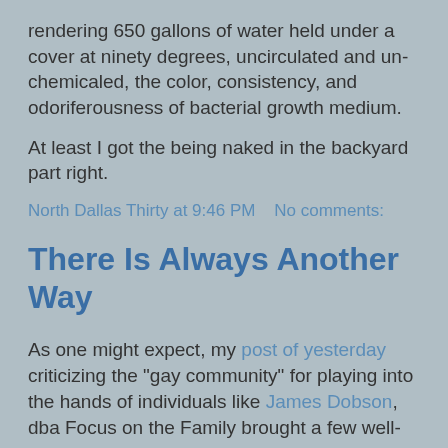rendering 650 gallons of water held under a cover at ninety degrees, uncirculated and un-chemicaled, the color, consistency, and odoriferousness of bacterial growth medium.
At least I got the being naked in the backyard part right.
North Dallas Thirty at 9:46 PM   No comments:
There Is Always Another Way
As one might expect, my post of yesterday criticizing the "gay community" for playing into the hands of individuals like James Dobson, dba Focus on the Family brought a few well-reasoned responses.
First, from regular commentator Ian S., on the topic of age-of-consent laws:
As for age of consent laws, AFAIK the position of the major GLBT organizations in this country is that they be the SAME